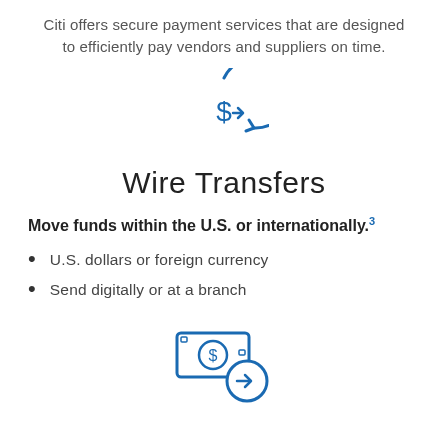Citi offers secure payment services that are designed to efficiently pay vendors and suppliers on time.
[Figure (illustration): Blue circular icon with a dollar sign and rightward arrow, representing a wire transfer]
Wire Transfers
Move funds within the U.S. or internationally.³
U.S. dollars or foreign currency
Send digitally or at a branch
[Figure (illustration): Blue icon of cash/bills with a dollar sign and rightward arrow circle, representing payment transfer]